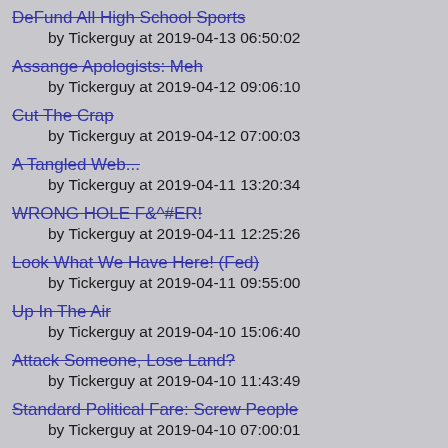DeFund All High School Sports
by Tickerguy at 2019-04-13 06:50:02
Assange Apologists: Meh
by Tickerguy at 2019-04-12 09:06:10
Cut The Crap
by Tickerguy at 2019-04-12 07:00:03
A Tangled Web...
by Tickerguy at 2019-04-11 13:20:34
WRONG HOLE F&^#ER!
by Tickerguy at 2019-04-11 12:25:26
Look What We Have Here! (Fed)
by Tickerguy at 2019-04-11 09:55:00
Up In The Air
by Tickerguy at 2019-04-10 15:06:40
Attack Someone, Lose Land?
by Tickerguy at 2019-04-10 11:43:49
Standard Political Fare: Screw People
by Tickerguy at 2019-04-10 07:00:01
Falling....
by Tickerguy at 2019-04-09 13:14:38